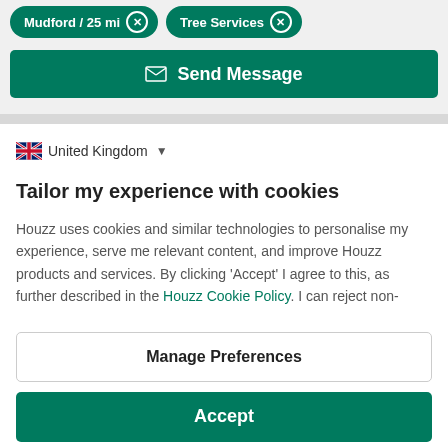Mudford / 25 mi  ✕   Tree Services  ✕
Send Message
United Kingdom
Tailor my experience with cookies
Houzz uses cookies and similar technologies to personalise my experience, serve me relevant content, and improve Houzz products and services. By clicking 'Accept' I agree to this, as further described in the Houzz Cookie Policy. I can reject non-
Manage Preferences
Accept